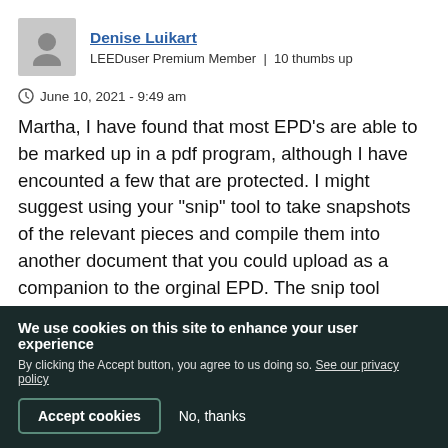Denise Luikart
LEEDuser Premium Member  |  10 thumbs up
June 10, 2021 - 9:49 am
Martha,  I have found that most EPD's are able to be marked up in a pdf program, although I have encounted a few that are protected.  I might suggest using your "snip" tool to take snapshots of the relevant pieces and compile them into another document that you could upload as a companion to the orginal EPD.  The snip tool allows you to highligh
We use cookies on this site to enhance your user experience
By clicking the Accept button, you agree to us doing so. See our privacy policy
Accept cookies
No, thanks